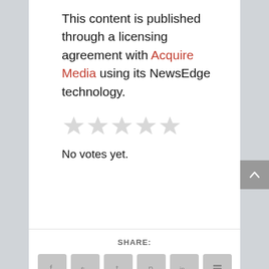This content is published through a licensing agreement with Acquire Media using its NewsEdge technology.
[Figure (other): Five empty/unfilled star rating icons in light gray]
No votes yet.
SHARE:
[Figure (other): Social sharing icons: Facebook, Twitter, Tumblr, Pinterest, LinkedIn, Buffer, StumbleUpon, Email, Print]
< PREVIOUS
NEXT >